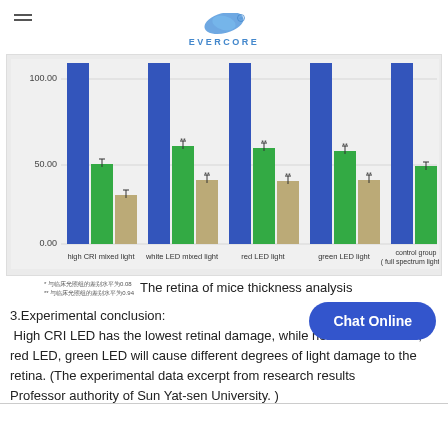EVERCORE
[Figure (grouped-bar-chart): The retina of mice thickness analysis]
The retina of mice thickness analysis
* 与临床光照组的差别水平为0.08
** 与临床光照组的差别水平为0.94
3.Experimental conclusion:
High CRI LED has the lowest retinal damage, while normal white LED , red LED, green LED will cause different degrees of light damage to the retina. (The experimental data excerpt from research results Professor authority of Sun Yat-sen University. )